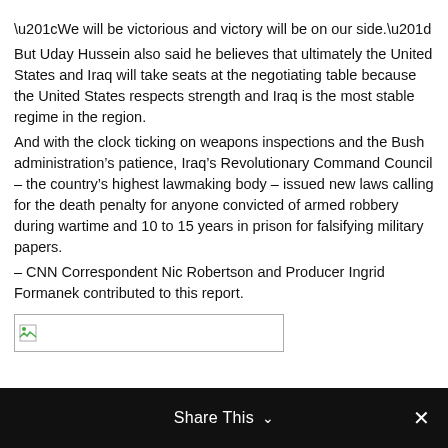“We will be victorious and victory will be on our side.”
But Uday Hussein also said he believes that ultimately the United States and Iraq will take seats at the negotiating table because the United States respects strength and Iraq is the most stable regime in the region.
And with the clock ticking on weapons inspections and the Bush administration’s patience, Iraq’s Revolutionary Command Council – the country’s highest lawmaking body – issued new laws calling for the death penalty for anyone convicted of armed robbery during wartime and 10 to 15 years in prison for falsifying military papers.
– CNN Correspondent Nic Robertson and Producer Ingrid Formanek contributed to this report.
[Figure (other): Broken/missing image placeholder with small icon]
Share This ⌄  ×